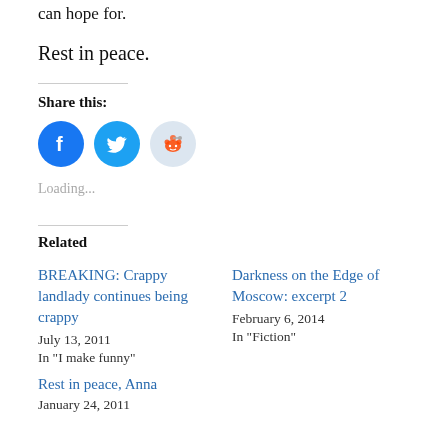can hope for.
Rest in peace.
Share this:
[Figure (infographic): Three social sharing icons: Facebook (blue circle with F), Twitter (blue circle with bird), Reddit (light blue circle with alien mascot)]
Loading...
Related
BREAKING: Crappy landlady continues being crappy
July 13, 2011
In "I make funny"
Darkness on the Edge of Moscow: excerpt 2
February 6, 2014
In "Fiction"
Rest in peace, Anna
January 24, 2011